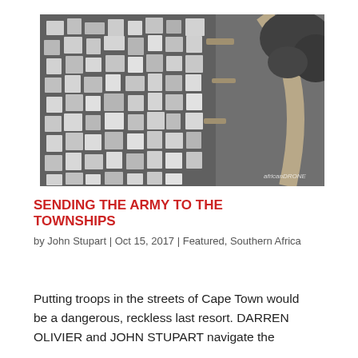[Figure (photo): Black and white aerial drone photograph of a dense township settlement showing tightly packed small structures and buildings viewed from above, with a curved dirt road visible on the right side and vegetation in the upper right corner. Watermark reads 'africanDRONE' in lower right.]
SENDING THE ARMY TO THE TOWNSHIPS
by John Stupart | Oct 15, 2017 | Featured, Southern Africa
Putting troops in the streets of Cape Town would be a dangerous, reckless last resort. DARREN OLIVIER and JOHN STUPART navigate the